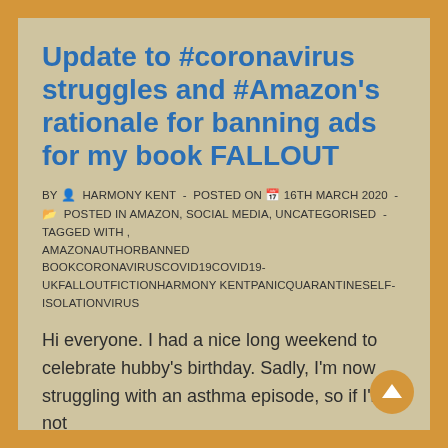Update to #coronavirus struggles and #Amazon's rationale for banning ads for my book FALLOUT
BY  HARMONY KENT  -  POSTED ON  16TH MARCH 2020  -   POSTED IN AMAZON, SOCIAL MEDIA, UNCATEGORISED  -  TAGGED WITH , AMAZONAUTHORBANNED BOOKCORONAVIRUSCOVID19COVID19-UKFALLOUTFICTIONHARMONY KENTPANICQUARANTINESELF-ISOLATIONVIRUS
Hi everyone. I had a nice long weekend to celebrate hubby's birthday. Sadly, I'm now struggling with an asthma episode, so if I'm not